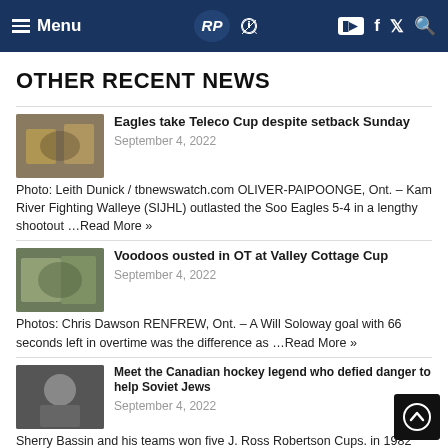Menu | Logo | YouTube | Facebook | Twitter | Search
OTHER RECENT NEWS
Eagles take Teleco Cup despite setback Sunday
September 4, 2022
Photo: Leith Dunick / tbnewswatch.com OLIVER-PAIPOONGE, Ont. – Kam River Fighting Walleye (SIJHL) outlasted the Soo Eagles 5-4 in a lengthy shootout …Read More »
Voodoos ousted in OT at Valley Cottage Cup
September 4, 2022
Photos: Chris Dawson RENFREW, Ont. – A Will Soloway goal with 66 seconds left in overtime was the difference as …Read More »
Meet the Canadian hockey legend who defied danger to help Soviet Jews
September 4, 2022
Sherry Bassin and his teams won five J. Ross Robertson Cups. in 1982 Bassin helped the Canadian National junior team …Read More »
Fiddes scores three in Eagles win over Walleye